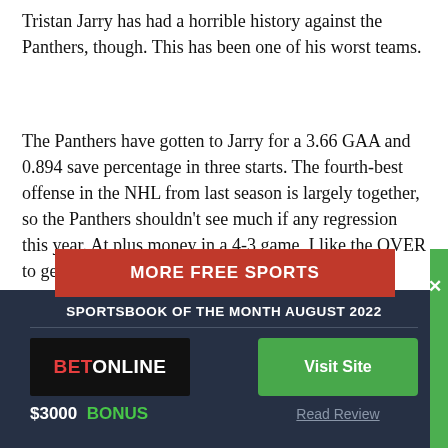Tristan Jarry has had a horrible history against the Panthers, though. This has been one of his worst teams.
The Panthers have gotten to Jarry for a 3.66 GAA and 0.894 save percentage in three starts. The fourth-best offense in the NHL from last season is largely together, so the Panthers shouldn't see much if any regression this year. At plus money in a 4-3 game, I like the OVER to get there.
MORE FREE SPORTS
SPORTSBOOK OF THE MONTH AUGUST 2022
[Figure (logo): BetOnline logo — black background with red BET and white ONLINE text]
Visit Site
$3000  BONUS
Read Review